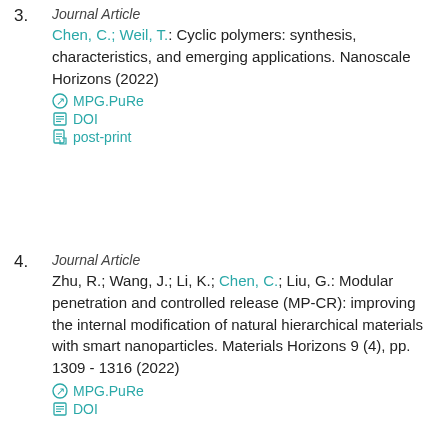3.
Journal Article
Chen, C.; Weil, T.: Cyclic polymers: synthesis, characteristics, and emerging applications. Nanoscale Horizons (2022)
MPG.PuRe
DOI
post-print
4.
Journal Article
Zhu, R.; Wang, J.; Li, K.; Chen, C.; Liu, G.: Modular penetration and controlled release (MP-CR): improving the internal modification of natural hierarchical materials with smart nanoparticles. Materials Horizons 9 (4), pp. 1309 - 1316 (2022)
MPG.PuRe
DOI